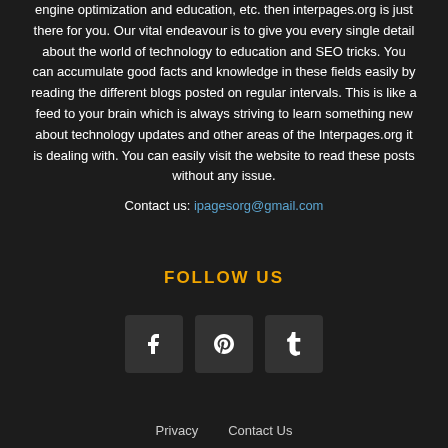engine optimization and education, etc. then interpages.org is just there for you. Our vital endeavour is to give you every single detail about the world of technology to education and SEO tricks. You can accumulate good facts and knowledge in these fields easily by reading the different blogs posted on regular intervals. This is like a feed to your brain which is always striving to learn something new about technology updates and other areas of the Interpages.org it is dealing with. You can easily visit the website to read these posts without any issue.
Contact us: ipagesorg@gmail.com
FOLLOW US
[Figure (other): Three social media icon buttons: Facebook (f), Pinterest (P), Tumblr (t)]
Privacy   Contact Us